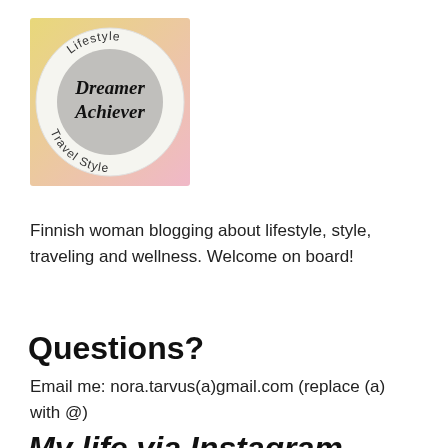[Figure (logo): Dreamer Achiever blog logo: a circular badge with a grey center circle containing the text 'Dreamer Achiever' in italic serif font, surrounded by a white ring with the words 'Lifestyle', 'Travel', 'Style' in curved text, on a yellow-pink gradient square background.]
Finnish woman blogging about lifestyle, style, traveling and wellness. Welcome on board!
Questions?
Email me: nora.tarvus(a)gmail.com (replace (a) with @)
My life via Instagram...